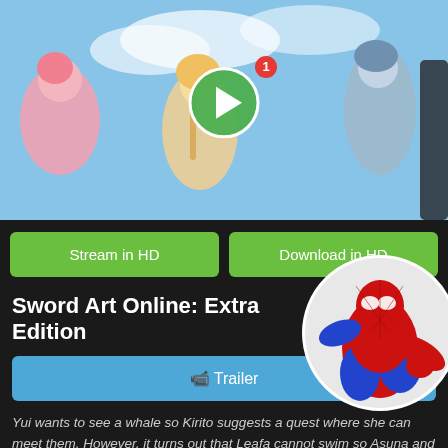[Figure (screenshot): Anime characters (Sword Art Online girls) in swimsuits with a green play button overlay]
Stream in HD
Download in HD
Sword Art Online: Extra Edition
Trailer
Yui wants to see a whale so Kirito suggests a quest where she can meet them. However, it turns out that Leafa cannot swim so Asuna and the other female characters decide to train Suguha in a real-world pool in preparation for the aforementioned quest. Meanwhile, Kirito is called for an emergency counseling meeting at his new school. There he meets an elite member of the Virtual Division of the Ministry of Internal Affairs. Kirito then tells him details about what really happened in Aincrad and in Alfheim.
KissAnime Review:
[Figure (illustration): Spider-Man figure in circular frame overlapping the right side of the content]